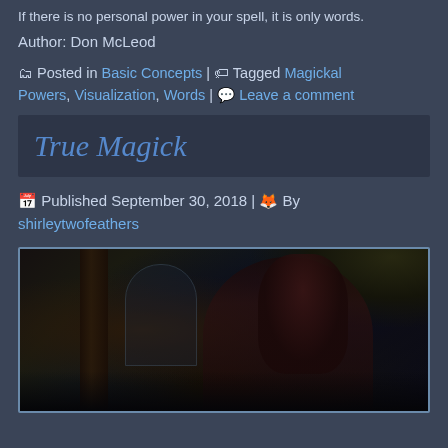If there is no personal power in your spell, it is only words.
Author: Don McLeod
🗂 Posted in Basic Concepts | 🏷 Tagged Magickal Powers, Visualization, Words | 💬 Leave a comment
True Magick
📅 Published September 30, 2018 | 🦊 By shirleytwofeathers
[Figure (photo): A dark, mystical photo of a woman with dark hair and a headpiece, seeming to perform magic, with a dark stone archway and foliage in the background.]